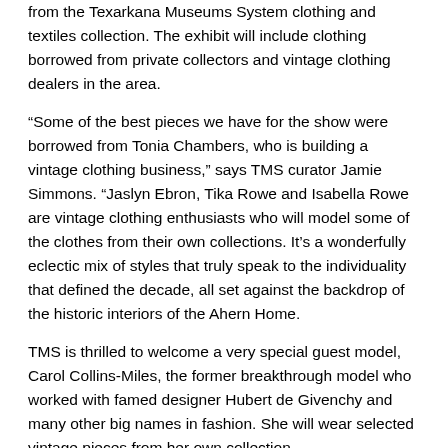from the Texarkana Museums System clothing and textiles collection. The exhibit will include clothing borrowed from private collectors and vintage clothing dealers in the area.
“Some of the best pieces we have for the show were borrowed from Tonia Chambers, who is building a vintage clothing business,” says TMS curator Jamie Simmons. “Jaslyn Ebron, Tika Rowe and Isabella Rowe are vintage clothing enthusiasts who will model some of the clothes from their own collections. It’s a wonderfully eclectic mix of styles that truly speak to the individuality that defined the decade, all set against the backdrop of the historic interiors of the Ahern Home.
TMS is thrilled to welcome a very special guest model, Carol Collins-Miles, the former breakthrough model who worked with famed designer Hubert de Givenchy and many other big names in fashion. She will wear selected vintage pieces from her own collection.